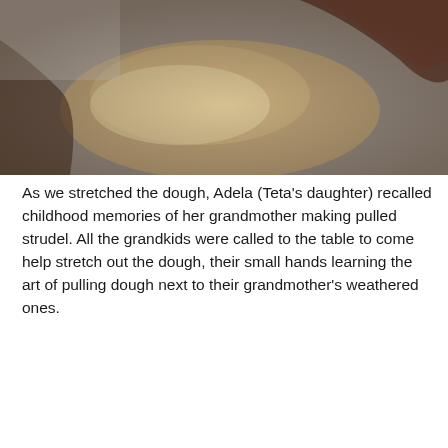[Figure (photo): Close-up photograph of hands stretching dough on a light surface, dark moody background with warm tones]
As we stretched the dough, Adela (Teta's daughter) recalled childhood memories of her grandmother making pulled strudel. All the grandkids were called to the table to come help stretch out the dough, their small hands learning the art of pulling dough next to their grandmother's weathered ones.
[Figure (photo): Dark, moody photograph of two sets of hands touching — younger hands and older, weathered hands — in a gesture of connection, against a near-black background]